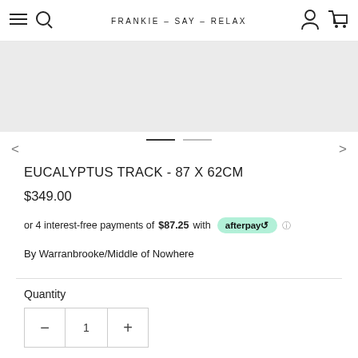FRANKIE - SAY - RELAX
[Figure (photo): Product image area, light gray background placeholder]
EUCALYPTUS TRACK - 87 X 62CM
$349.00
or 4 interest-free payments of $87.25 with afterpay
By Warranbrooke/Middle of Nowhere
Quantity
1